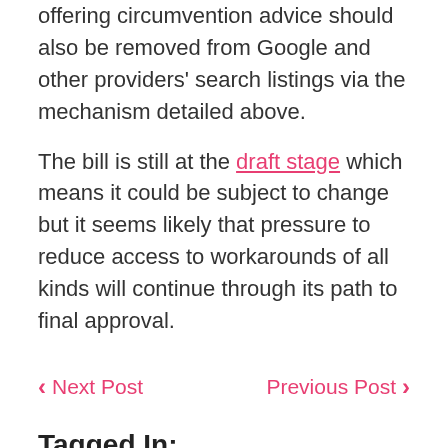offering circumvention advice should also be removed from Google and other providers' search listings via the mechanism detailed above.

The bill is still at the draft stage which means it could be subject to change but it seems likely that pressure to reduce access to workarounds of all kinds will continue through its path to final approval.
< Next Post    Previous Post >
Tagged In:
blocking russia